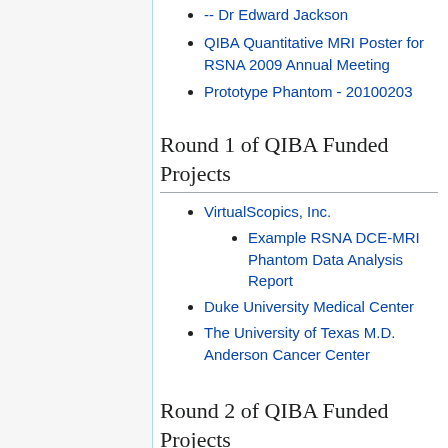-- Dr Edward Jackson
QIBA Quantitative MRI Poster for RSNA 2009 Annual Meeting
Prototype Phantom - 20100203
Round 1 of QIBA Funded Projects
VirtualScopics, Inc.
Example RSNA DCE-MRI Phantom Data Analysis Report
Duke University Medical Center
The University of Texas M.D. Anderson Cancer Center
Round 2 of QIBA Funded Projects